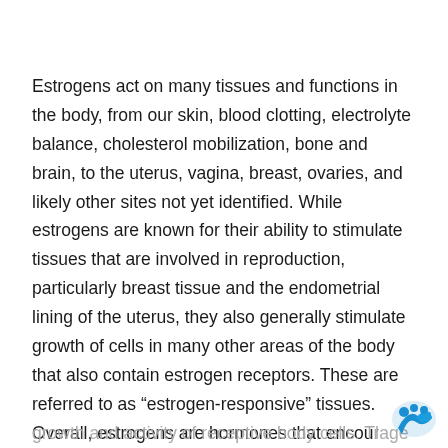Estrogens act on many tissues and functions in the body, from our skin, blood clotting, electrolyte balance, cholesterol mobilization, bone and brain, to the uterus, vagina, breast, ovaries, and likely other sites not yet identified. While estrogens are known for their ability to stimulate tissues that are involved in reproduction, particularly breast tissue and the endometrial lining of the uterus, they also generally stimulate growth of cells in many other areas of the body that also contain estrogen receptors. These are referred to as “estrogen-responsive” tissues. Overall, estrogens are hormones that encourage growth and activity of receptive body cells. This is k...